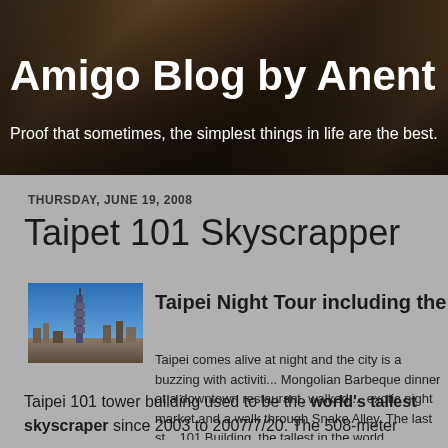Amigo Blog by Anent
Proof that sometimes, the simplest things in life are the best.
THURSDAY, JUNE 19, 2008
Taipet 101 Skyscrapper
[Figure (photo): Thumbnail photo of Taipei 101 skyscraper against blue sky with city skyline below]
Taipei Night Tour including the Taipei 1
Taipei comes alive at night and the city is a buzzing with activiti... Mongolian Barbeque dinner at a downtown restaurant, walked ... exotic night market and a walk through Snake Alley. The last st... 101 Building, the tallest in the world.
Taipei 101 tower building used to be the world's tallest skyscraper since 2003 to 2007/7/20. The 508-meter